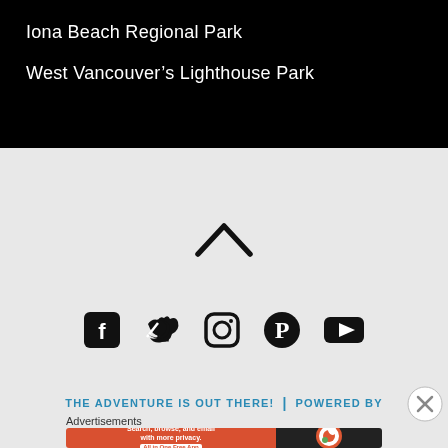Iona Beach Regional Park
West Vancouver's Lighthouse Park
[Figure (other): Upward chevron / caret icon indicating scroll to top]
[Figure (other): Social media icons row: Facebook, Twitter, Instagram, Pinterest, YouTube]
THE ADVENTURE IS OUT THERE! | POWERED BY
Advertisements
[Figure (other): DuckDuckGo advertisement banner: Search, browse, and email with more privacy. All in One Free App]